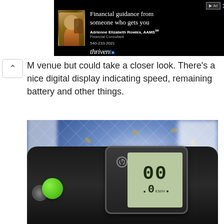[Figure (photo): Advertisement banner for Thrivent financial services. Black background with photo of Adrienne Elizabeth Rowles with a horse. Text: 'Financial guidance from someone who gets you', 'Adrienne Elizabeth Rowles, AAMS', 'Financial Consultant', '540-233-2021', Thrivent logo.]
M venue but could take a closer look. There's a nice digital display indicating speed, remaining battery and other things.
[Figure (photo): Close-up photo of an electric bike's digital display/speedometer showing 00.0 km/h, with a power button on the left side, green button visible on the handlebar, blue patterned background (likely a trade show or venue backdrop).]